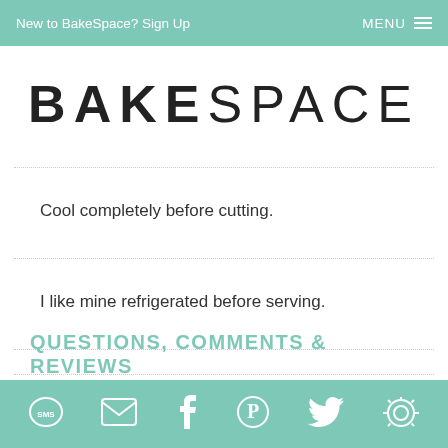New to BakeSpace? Sign Up   MENU
BAKESPACE
Cool completely before cutting.
I like mine refrigerated before serving.
QUESTIONS, COMMENTS & REVIEWS
SMS Email Facebook Pinterest Twitter Instacart